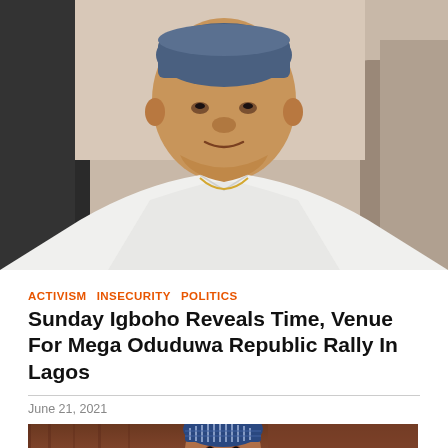[Figure (photo): Portrait photo of a man wearing a white agbada (traditional Nigerian attire) and a blue cap, seated in front of a grey sofa]
ACTIVISM  INSECURITY  POLITICS
Sunday Igboho Reveals Time, Venue For Mega Oduduwa Republic Rally In Lagos
June 21, 2021
[Figure (photo): Partial photo of a man wearing a blue patterned cap, visible from the shoulders up, against a dark reddish background]